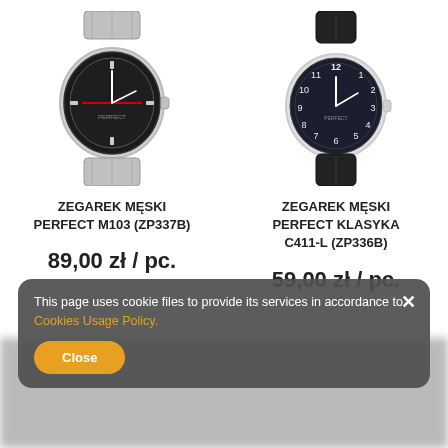[Figure (photo): Photo of ZEGAREK MĘSKI PERFECT M103 (ZP337B) — a sports-style watch with silver metal bracelet and dark dial]
ZEGAREK MĘSKI PERFECT M103 (ZP337B)
89,00 zł / pc.
[Figure (photo): Photo of ZEGAREK MĘSKI PERFECT KLASYKA C411-L (ZP336B) — a classic watch with black leather strap and dark blue dial]
ZEGAREK MĘSKI PERFECT KLASYKA C411-L (ZP336B)
59,00 zł / pc.
This page uses cookie files to provide its services in accordance to Cookies Usage Policy.
Close